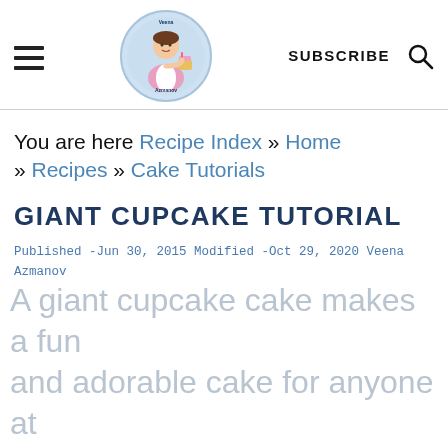SUBSCRIBE [search icon] [hamburger menu] [logo: Veena Azmanov]
You are here Recipe Index » Home » Recipes » Cake Tutorials
GIANT CUPCAKE TUTORIAL
Published -Jun 30, 2015 Modified -Oct 29, 2020 Veena Azmanov This post may contain affiliate links to Amazon and other sides. This blog generates income via ads and sponsoredpost. Please read our Privacy policy and copyright and disclosure for more details
A giant cupcake cake makes a fun and adorable cake for anyone at